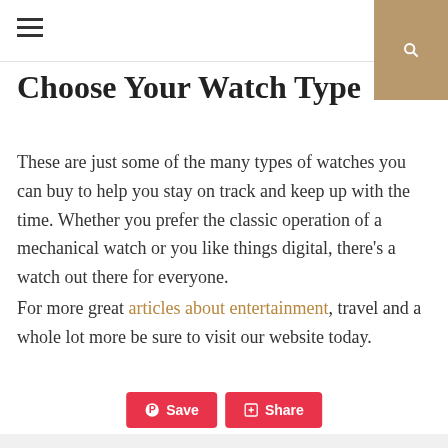≡  🔍
Choose Your Watch Type
These are just some of the many types of watches you can buy to help you stay on track and keep up with the time. Whether you prefer the classic operation of a mechanical watch or you like things digital, there's a watch out there for everyone.
For more great articles about entertainment, travel and a whole lot more be sure to visit our website today.
[Figure (other): Save and Share buttons (Pinterest Save in red, Share in red with plus icon)]
TAGS